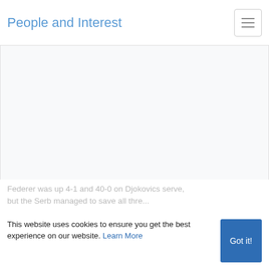People and Interest
[Figure (other): Large blank white/light gray content area placeholder below the navigation header]
Federer was up 4-1 and 40-0 on Djokovics serve, but the Serb managed to save all three...
This website uses cookies to ensure you get the best experience on our website. Learn More
Got it!